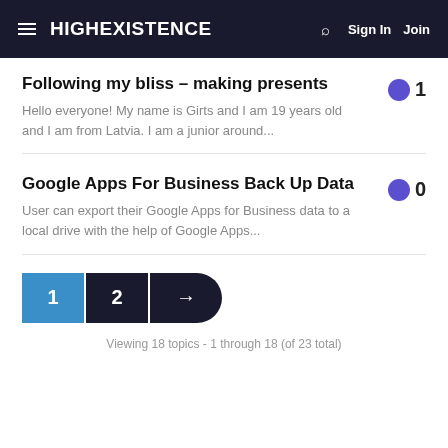HIGHEXISTENCE | Sign In | Join
Following my bliss – making presents
Hello everyone! My name is Girts and I am 19 years old and I am from Latvia. I am a junior around...
Google Apps For Business Back Up Data
User can export their Google Apps for Business data to a local drive with the help of Google Apps...
Viewing 18 topics - 1 through 18 (of 23 total)